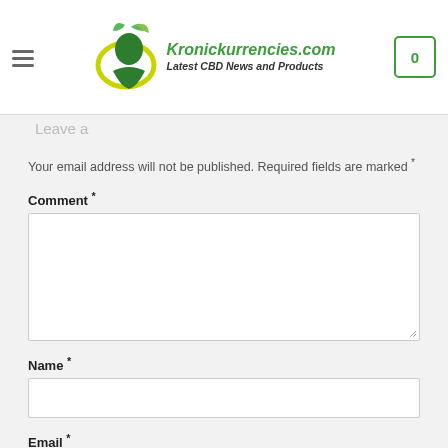[Figure (logo): Kronickurrencies.com logo with green leaf and silhouette icon, green italic text 'Kronickurrencies.com', bold italic subtitle 'Latest CBD News and Products']
Leave a comment
Your email address will not be published. Required fields are marked *
Comment *
Name *
Email *